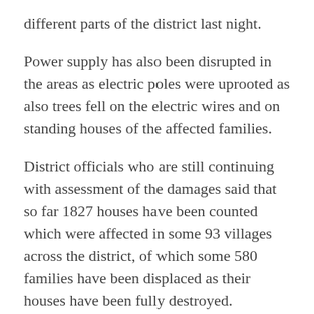different parts of the district last night.
Power supply has also been disrupted in the areas as electric poles were uprooted as also trees fell on the electric wires and on standing houses of the affected families.
District officials who are still continuing with assessment of the damages said that so far 1827 houses have been counted which were affected in some 93 villages across the district, of which some 580 families have been displaced as their houses have been fully destroyed.